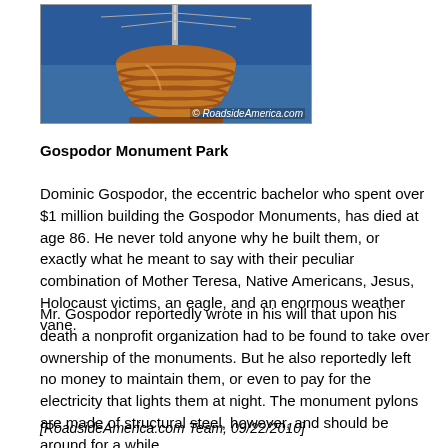[Figure (photo): Close-up photo of a copper/bronze dome or tower top with antenna, against a blue sky. Watermark: © RoadsideAmerica.com]
Gospodor Monument Park
Dominic Gospodor, the eccentric bachelor who spent over $1 million building the Gospodor Monuments, has died at age 86. He never told anyone why he built them, or exactly what he meant to say with their peculiar combination of Mother Teresa, Native Americans, Jesus, Holocaust victims, an eagle, and an enormous weather vane.
Mr. Gospodor reportedly wrote in his will that upon his death a nonprofit organization had to be found to take over ownership of the monuments. But he also reportedly left no money to maintain them, or even to pay for the electricity that lights them at night. The monument pylons are made of structural steel, however, and should be around for a while.
[RoadsideAmerica.com Team, 09/22/2010]